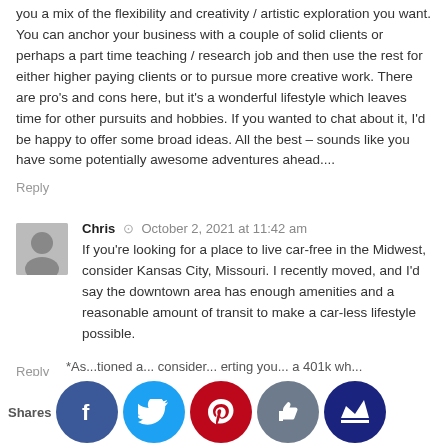you a mix of the flexibility and creativity / artistic exploration you want. You can anchor your business with a couple of solid clients or perhaps a part time teaching / research job and then use the rest for either higher paying clients or to pursue more creative work. There are pro's and cons here, but it's a wonderful lifestyle which leaves time for other pursuits and hobbies. If you wanted to chat about it, I'd be happy to offer some broad ideas. All the best – sounds like you have some potentially awesome adventures ahead....
Reply
Chris  ⊙  October 2, 2021 at 11:42 am
If you're looking for a place to live car-free in the Midwest, consider Kansas City, Missouri. I recently moved, and I'd say the downtown area has enough amenities and a reasonable amount of transit to make a car-less lifestyle possible.
Reply
Sarah  ⊙  October 2, 2021 at 7:07 pm
L... gest – ...st imp...
*As...tioned a... consider... erting you... 401k wh...